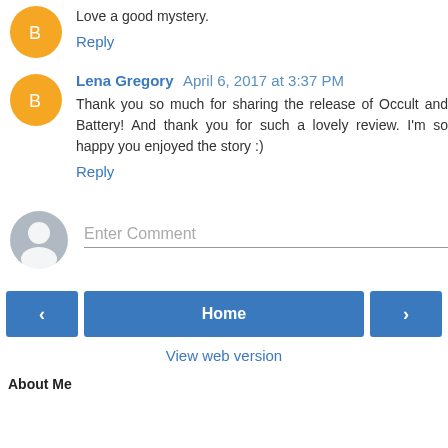Love a good mystery.
Reply
Lena Gregory April 6, 2017 at 3:37 PM
Thank you so much for sharing the release of Occult and Battery! And thank you for such a lovely review. I'm so happy you enjoyed the story :)
Reply
Enter Comment
Home
View web version
About Me